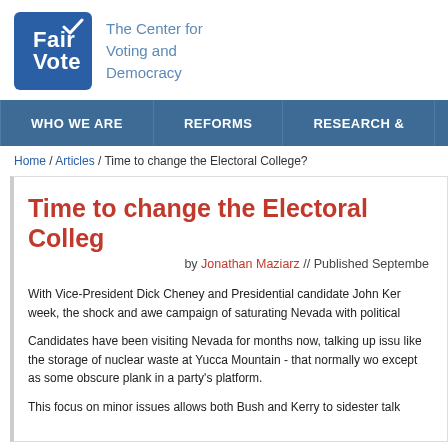[Figure (logo): FairVote logo: blue rounded square with white text 'Fair Vote' and checkmark, next to text 'The Center for Voting and Democracy']
WHO WE ARE | REFORMS | RESEARCH &
Home / Articles / Time to change the Electoral College?
Time to change the Electoral College?
by Jonathan Maziarz // Published Septembe
With Vice-President Dick Cheney and Presidential candidate John Ker- week, the shock and awe campaign of saturating Nevada with political
Candidates have been visiting Nevada for months now, talking up issu- like the storage of nuclear waste at Yucca Mountain - that normally wo- except as some obscure plank in a party's platform.
This focus on minor issues allows both Bush and Kerry to sidester talk